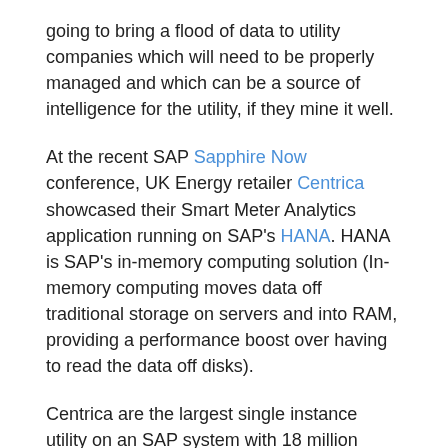going to bring a flood of data to utility companies which will need to be properly managed and which can be a source of intelligence for the utility, if they mine it well.
At the recent SAP Sapphire Now conference, UK Energy retailer Centrica showcased their Smart Meter Analytics application running on SAP's HANA. HANA is SAP's in-memory computing solution (In-memory computing moves data off traditional storage on servers and into RAM, providing a performance boost over having to read the data off disks).
Centrica are the largest single instance utility on an SAP system with 18 million residential accounts for and one million business accounts. Right now they are billing residential accounts every three months and they are managing 75 million meter reads per annum.